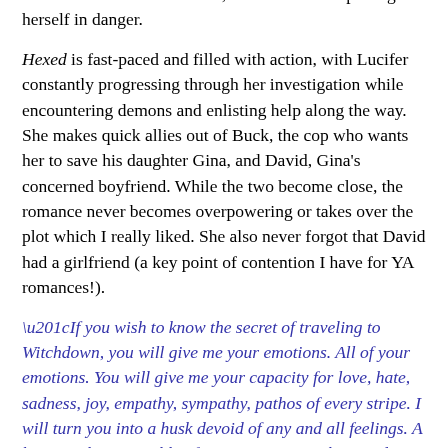human out of a bad situation, even if it means putting herself in danger.
Hexed is fast-paced and filled with action, with Lucifer constantly progressing through her investigation while encountering demons and enlisting help along the way. She makes quick allies out of Buck, the cop who wants her to save his daughter Gina, and David, Gina's concerned boyfriend. While the two become close, the romance never becomes overpowering or takes over the plot which I really liked. She also never forgot that David had a girlfriend (a key point of contention I have for YA romances!).
“If you wish to know the secret of traveling to Witchdown, you will give me your emotions. All of your emotions. You will give me your capacity for love, hate, sadness, joy, empathy, sympathy, pathos of every stripe. I will turn you into a husk devoid of any and all feelings. A homunculus incapable of experiencing anything endemic to the human condition. That